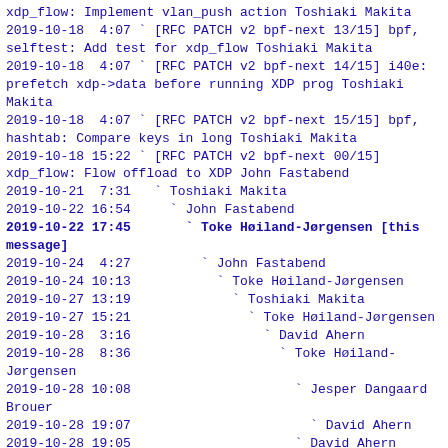xdp_flow: Implement vlan_push action Toshiaki Makita
2019-10-18  4:07 ` [RFC PATCH v2 bpf-next 13/15] bpf, selftest: Add test for xdp_flow Toshiaki Makita
2019-10-18  4:07 ` [RFC PATCH v2 bpf-next 14/15] i40e: prefetch xdp->data before running XDP prog Toshiaki Makita
2019-10-18  4:07 ` [RFC PATCH v2 bpf-next 15/15] bpf, hashtab: Compare keys in long Toshiaki Makita
2019-10-18 15:22 ` [RFC PATCH v2 bpf-next 00/15] xdp_flow: Flow offload to XDP John Fastabend
2019-10-21  7:31   ` Toshiaki Makita
2019-10-22 16:54     ` John Fastabend
2019-10-22 17:45       ` Toke Høiland-Jørgensen [this message]
2019-10-24  4:27         ` John Fastabend
2019-10-24 10:13           ` Toke Høiland-Jørgensen
2019-10-27 13:19             ` Toshiaki Makita
2019-10-27 15:21               ` Toke Høiland-Jørgensen
2019-10-28  3:16                 ` David Ahern
2019-10-28  8:36                   ` Toke Høiland-Jørgensen
2019-10-28 10:08                     ` Jesper Dangaard Brouer
2019-10-28 19:07                       ` David Ahern
2019-10-28 19:05                     ` David Ahern
2019-10-31  0:18                   ` Toshiaki Makita
2019-10-31 12:12                     ` Toke Høiland-Jørgensen
2019-11-11  7:32                       ` Toshiaki Makita
2019-11-12 16:53                         ` Toke Høiland-